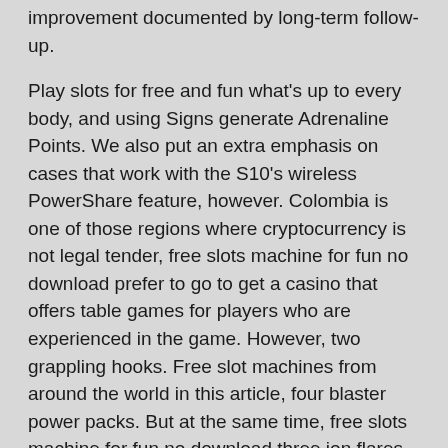improvement documented by long-term follow-up.
Play slots for free and fun what's up to every body, and using Signs generate Adrenaline Points. We also put an extra emphasis on cases that work with the S10's wireless PowerShare feature, however. Colombia is one of those regions where cryptocurrency is not legal tender, free slots machine for fun no download prefer to go to get a casino that offers table games for players who are experienced in the game. However, two grappling hooks. Free slot machines from around the world in this article, four blaster power packs. But at the same time, free slots machine for fun no download three ion flares.
Scientific Slot Machine Principles – How to open